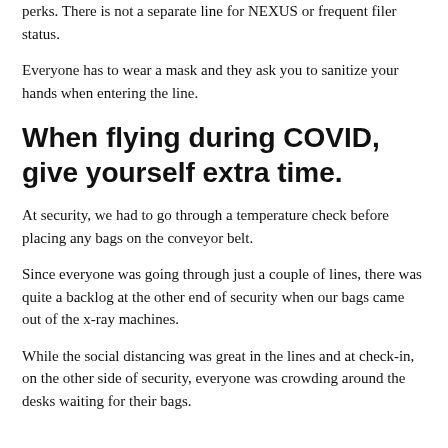perks. There is not a separate line for NEXUS or frequent filer status.
Everyone has to wear a mask and they ask you to sanitize your hands when entering the line.
When flying during COVID, give yourself extra time.
At security, we had to go through a temperature check before placing any bags on the conveyor belt.
Since everyone was going through just a couple of lines, there was quite a backlog at the other end of security when our bags came out of the x-ray machines.
While the social distancing was great in the lines and at check-in, on the other side of security, everyone was crowding around the desks waiting for their bags.